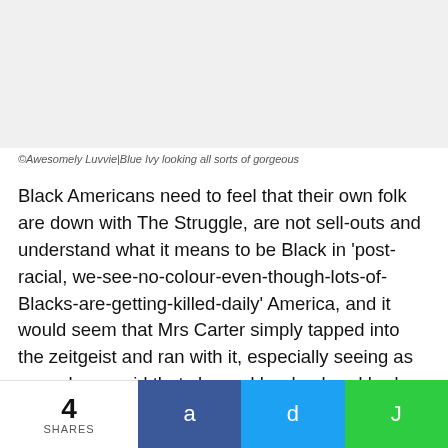[Figure (photo): Gray placeholder image area for a photo (Blue Ivy)]
©Awesomely Luvvie|Blue Ivy looking all sorts of gorgeous
Black Americans need to feel that their own folk are down with The Struggle, are not sell-outs and understand what it means to be Black in 'post-racial, we-see-no-colour-even-though-lots-of-Blacks-are-getting-killed-daily' America, and it would seem that Mrs Carter simply tapped into the zeitgeist and ran with it, especially seeing as some have said that she and her husband had been deafeningly quiet during all the racial tension in that country recently.
4 SHARES  a  d  J